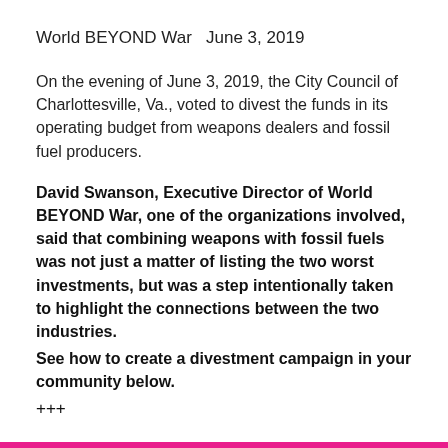World BEYOND War  June 3, 2019
On the evening of June 3, 2019, the City Council of Charlottesville, Va., voted to divest the funds in its operating budget from weapons dealers and fossil fuel producers.
David Swanson, Executive Director of World BEYOND War, one of the organizations involved, said that combining weapons with fossil fuels was not just a matter of listing the two worst investments, but was a step intentionally taken to highlight the connections between the two industries. See how to create a divestment campaign in your community below.
+++